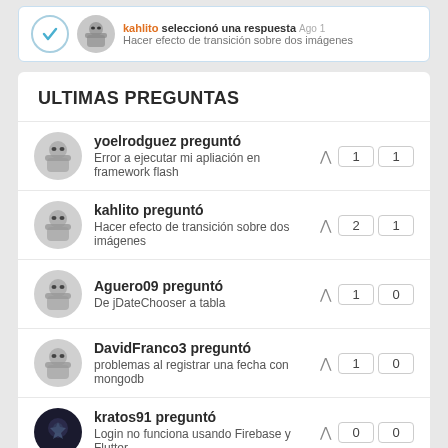[Figure (other): Top card with checkmark icon, small avatar, and text about 'kahlito seleccionó una respuesta'. Subtext: Hacer efecto de transición sobre dos imágenes]
ULTIMAS PREGUNTAS
yoelrodguez preguntó — Error a ejecutar mi apliación en framework flash — votes: 1, answers: 1
kahlito preguntó — Hacer efecto de transición sobre dos imágenes — votes: 2, answers: 1
Aguero09 preguntó — De jDateChooser a tabla — votes: 1, answers: 0
DavidFranco3 preguntó — problemas al registrar una fecha con mongodb — votes: 1, answers: 0
kratos91 preguntó — Login no funciona usando Firebase y Flutter — votes: 0, answers: 0